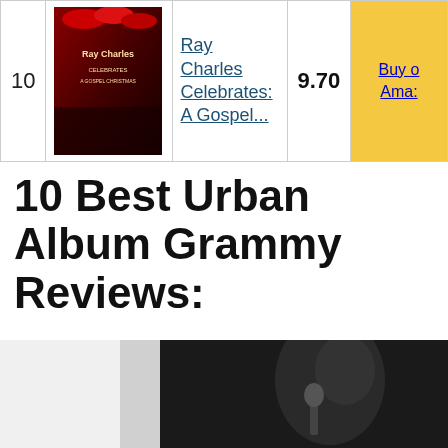| # | Image | Title | Score | Buy |
| --- | --- | --- | --- | --- |
| 10 | [album cover] | Ray Charles Celebrates: A Gospel... | 9.70 | Buy on Ama... |
10 Best Urban Album Grammy Reviews:
1. Stories To Tell: Greatest Hits And More
[Figure (photo): Black and white photo of an album or artist, partially visible at the bottom of the page]